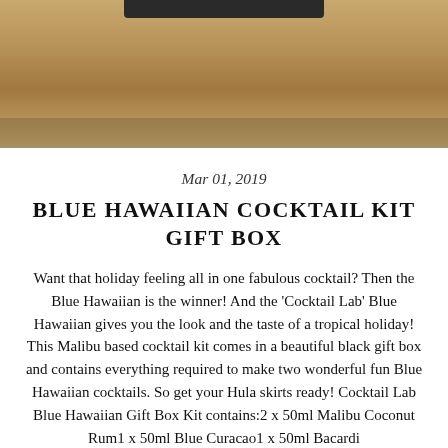[Figure (photo): Partial photo of a cocktail gift box on a wooden surface, with a dark bar element visible at the top center]
Mar 01, 2019
BLUE HAWAIIAN COCKTAIL KIT GIFT BOX
Want that holiday feeling all in one fabulous cocktail? Then the Blue Hawaiian is the winner! And the 'Cocktail Lab' Blue Hawaiian gives you the look and the taste of a tropical holiday! This Malibu based cocktail kit comes in a beautiful black gift box and contains everything required to make two wonderful fun Blue Hawaiian cocktails. So get your Hula skirts ready! Cocktail Lab Blue Hawaiian Gift Box Kit contains:2 x 50ml Malibu Coconut Rum1 x 50ml Blue Curacao1 x 50ml Bacardi